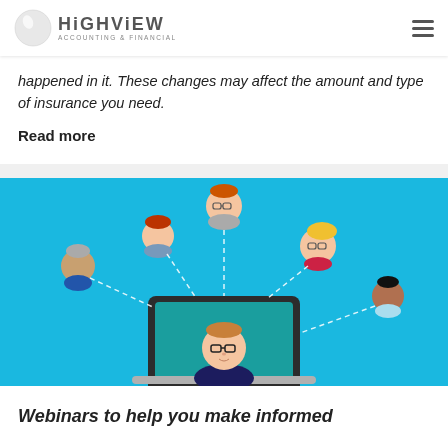HIGHVIEW ACCOUNTING & FINANCIAL
happened in it. These changes may affect the amount and type of insurance you need.
Read more
[Figure (illustration): Illustration of a video webinar with a person on a laptop screen connected by dashed lines to five diverse avatar faces floating above on a bright blue background.]
Webinars to help you make informed